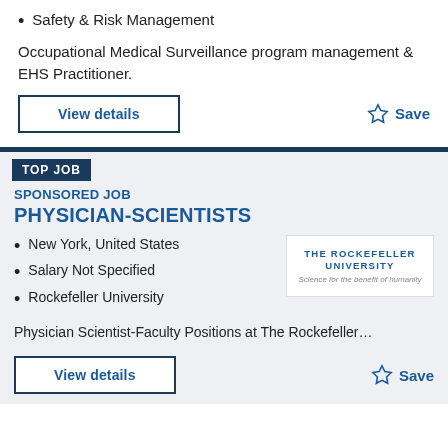Safety & Risk Management
Occupational Medical Surveillance program management & EHS Practitioner.
View details
Save
TOP JOB
SPONSORED JOB
PHYSICIAN-SCIENTISTS
New York, United States
Salary Not Specified
Rockefeller University
[Figure (logo): The Rockefeller University logo with text 'THE ROCKEFELLER UNIVERSITY' and tagline 'Science for the benefit of humanity']
Physician Scientist-Faculty Positions at The Rockefeller…
View details
Save